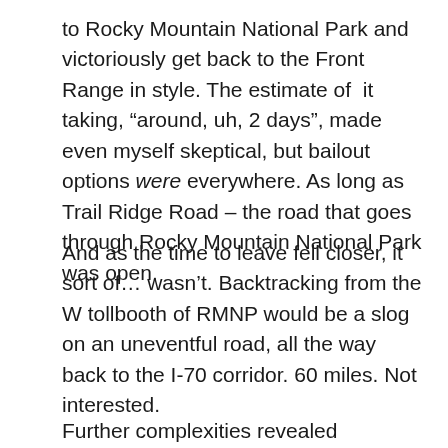to Rocky Mountain National Park and victoriously get back to the Front Range in style. The estimate of it taking, “around, uh, 2 days”, made even myself skeptical, but bailout options were everywhere. As long as Trail Ridge Road – the road that goes through Rocky Mountain National Park was open.
And as the time to leave fell closer, it sort of… wasn’t. Backtracking from the W tollbooth of RMNP would be a slog on an uneventful road, all the way back to the I-70 corridor. 60 miles. Not interested.
Further complexities revealed themselves, as I got